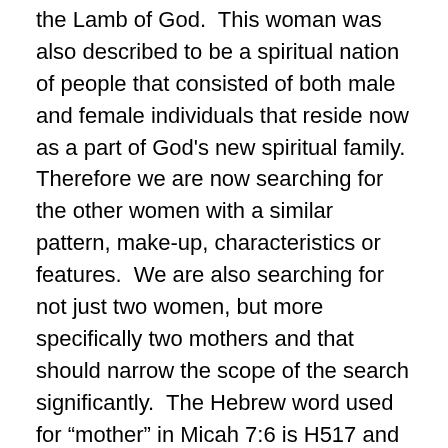the Lamb of God.  This woman was also described to be a spiritual nation of people that consisted of both male and female individuals that reside now as a part of God's new spiritual family.  Therefore we are now searching for the other women with a similar pattern, make-up, characteristics or features.  We are also searching for not just two women, but more specifically two mothers and that should narrow the scope of the search significantly.  The Hebrew word used for “mother” in Micah 7:6 is H517 and there are over 200 verses in the Bible that contain this word.  That is really too many verses to be useful.  The Hebrew word translated as “mother in law” is H2545 and this word is only found in one other book of the Bible and that makes it very interesting to me.  It just so happens that the “mother-in-law” H2545 is used 9 other times in the book of Ruth and only one time in Micah 7:6.  I do not